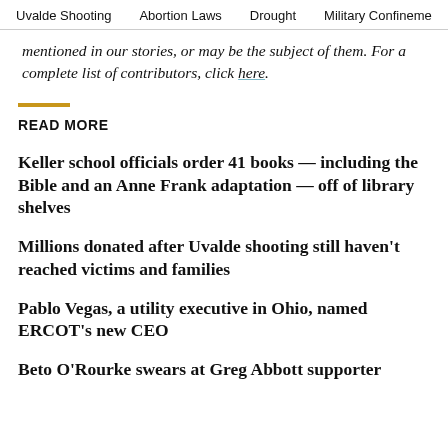Uvalde Shooting  Abortion Laws  Drought  Military Confinement
mentioned in our stories, or may be the subject of them. For a complete list of contributors, click here.
READ MORE
Keller school officials order 41 books — including the Bible and an Anne Frank adaptation — off of library shelves
Millions donated after Uvalde shooting still haven't reached victims and families
Pablo Vegas, a utility executive in Ohio, named ERCOT's new CEO
Beto O'Rourke swears at Greg Abbott supporter